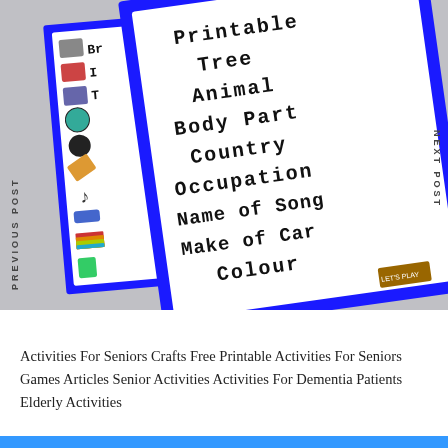[Figure (illustration): Two overlapping game cards with blue borders on a grey background. The front card shows printed text categories: Printable, Tree, Animal, Body Part, Country, Occupation, Name of Song, Make of Car, Colour. The back card on the left shows a strip of small icons. Side labels read PREVIOUS POST and NEXT POST vertically.]
Activities For Seniors Crafts Free Printable Activities For Seniors Games Articles Senior Activities Activities For Dementia Patients Elderly Activities